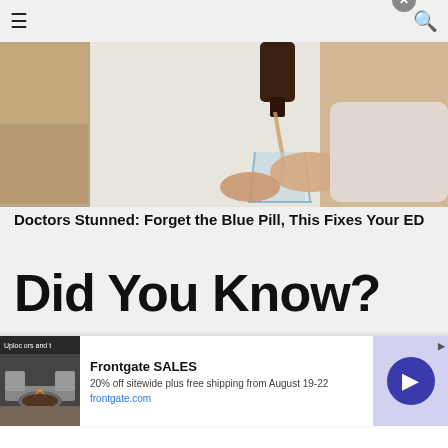☰  🔍
[Figure (photo): Person pouring liquid from a dark bottle into a glass, held in hands, near a tiled wall background]
Doctors Stunned: Forget the Blue Pill, This Fixes Your ED
Did You Know?
[Figure (photo): Thumbnail image of a blonde person]
[Figure (photo): Thumbnail image of a person with light brown hair]
[Figure (photo): Advertisement image showing outdoor furniture with a fire pit]
Frontgate SALES
20% off sitewide plus free shipping from August 19-22
frontgate.com